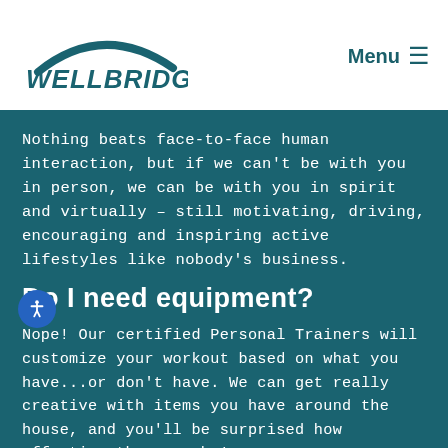WELLBRIDGE | Menu
Nothing beats face-to-face human interaction, but if we can't be with you in person, we can be with you in spirit and virtually – still motivating, driving, encouraging and inspiring active lifestyles like nobody's business.
Do I need equipment?
Nope! Our certified Personal Trainers will customize your workout based on what you have...or don't have. We can get really creative with items you have around the house, and you'll be surprised how effective they can be!